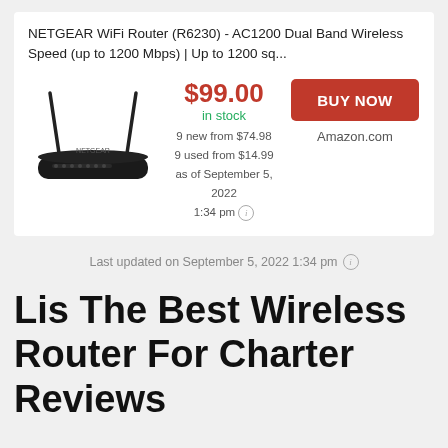NETGEAR WiFi Router (R6230) - AC1200 Dual Band Wireless Speed (up to 1200 Mbps) | Up to 1200 sq...
[Figure (photo): Black NETGEAR WiFi router with two antennas]
$99.00
in stock
9 new from $74.98
9 used from $14.99
as of September 5, 2022 1:34 pm
BUY NOW
Amazon.com
Last updated on September 5, 2022 1:34 pm
Lis The Best Wireless Router For Charter Reviews